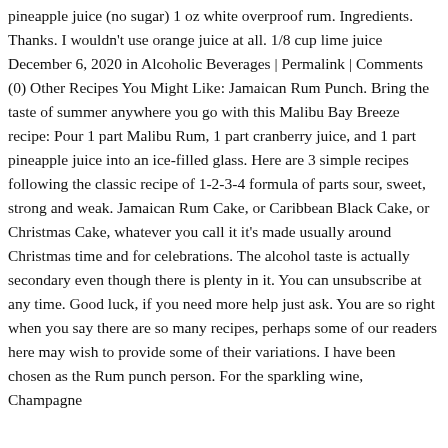pineapple juice (no sugar) 1 oz white overproof rum. Ingredients. Thanks. I wouldn't use orange juice at all. 1/8 cup lime juice December 6, 2020 in Alcoholic Beverages | Permalink | Comments (0) Other Recipes You Might Like: Jamaican Rum Punch. Bring the taste of summer anywhere you go with this Malibu Bay Breeze recipe: Pour 1 part Malibu Rum, 1 part cranberry juice, and 1 part pineapple juice into an ice-filled glass. Here are 3 simple recipes following the classic recipe of 1-2-3-4 formula of parts sour, sweet, strong and weak. Jamaican Rum Cake, or Caribbean Black Cake, or Christmas Cake, whatever you call it it's made usually around Christmas time and for celebrations. The alcohol taste is actually secondary even though there is plenty in it. You can unsubscribe at any time. Good luck, if you need more help just ask. You are so right when you say there are so many recipes, perhaps some of our readers here may wish to provide some of their variations. I have been chosen as the Rum punch person. For the sparkling wine, Champagne